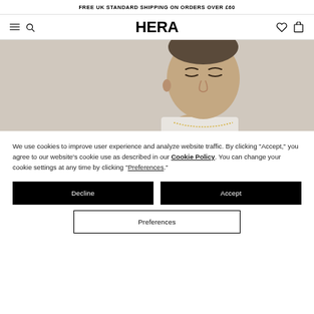FREE UK STANDARD SHIPPING ON ORDERS OVER £60
[Figure (logo): HERA brand logo in bold black text, centered in navigation bar with hamburger menu, search icon on left and heart, cart icons on right]
[Figure (photo): Close-up photo of a young man with short hair wearing a light grey t-shirt and chain necklace against a light grey/beige background. Magnify icon in top-left corner.]
We use cookies to improve user experience and analyze website traffic. By clicking "Accept," you agree to our website's cookie use as described in our Cookie Policy. You can change your cookie settings at any time by clicking "Preferences."
Decline
Accept
Preferences